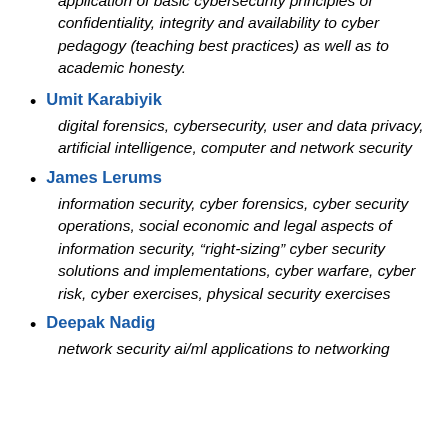application of basic cybersecurity principles of confidentiality, integrity and availability to cyber pedagogy (teaching best practices) as well as to academic honesty.
Umit Karabiyik
digital forensics, cybersecurity, user and data privacy, artificial intelligence, computer and network security
James Lerums
information security, cyber forensics, cyber security operations, social economic and legal aspects of information security, “right-sizing” cyber security solutions and implementations, cyber warfare, cyber risk, cyber exercises, physical security exercises
Deepak Nadig
network security ai/ml applications to networking